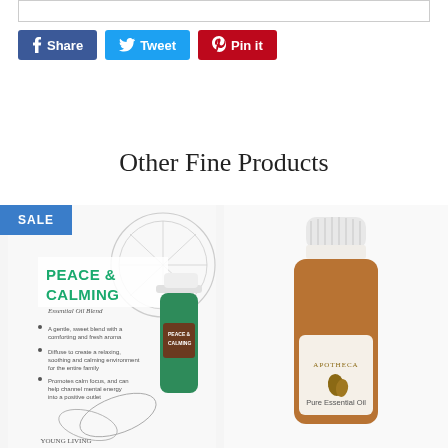[Figure (screenshot): Top border box (empty rectangle outline)]
Share
Tweet
Pin it
Other Fine Products
[Figure (photo): Young Living Peace & Calming Essential Oil Blend product image with SALE badge]
[Figure (photo): Apothecary Pure Essential Oil amber bottle product image]